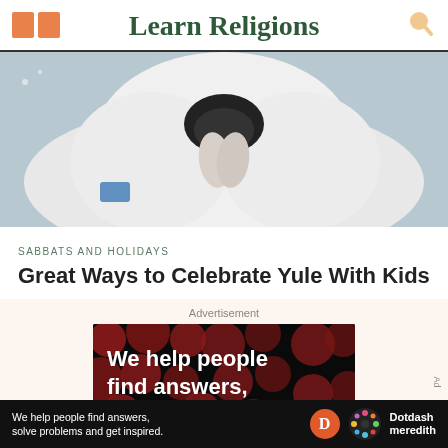Learn Religions
[Figure (photo): Close-up photo of a white fluffy animal (possibly a cat or dog) with hands praying or folded together in front of it, against a blurred background]
SABBATS AND HOLIDAYS
Great Ways to Celebrate Yule With Kids
Advertisement
[Figure (screenshot): Advertisement banner with dark background, red polka dot pattern, and white bold text reading 'We help people find answers, solve problems']
[Figure (screenshot): Bottom bar advertisement: 'We help people find answers, solve problems and get inspired.' with Dotdash Meredith logo]